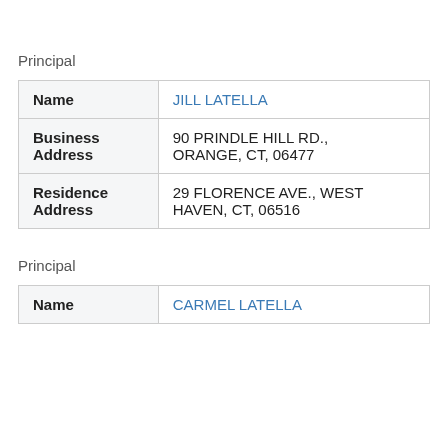Principal
|  |  |
| --- | --- |
| Name | JILL LATELLA |
| Business Address | 90 PRINDLE HILL RD., ORANGE, CT, 06477 |
| Residence Address | 29 FLORENCE AVE., WEST HAVEN, CT, 06516 |
Principal
|  |  |
| --- | --- |
| Name | CARMEL LATELLA |